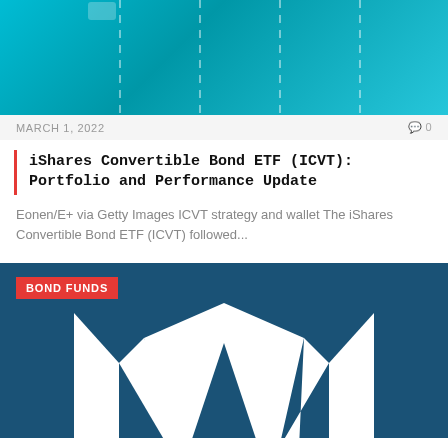[Figure (illustration): Teal/cyan gradient background image with white dashed vertical lines, partial crop at top of page]
MARCH 1, 2022
0
iShares Convertible Bond ETF (ICVT): Portfolio and Performance Update
Eonen/E+ via Getty Images ICVT strategy and wallet The iShares Convertible Bond ETF (ICVT) followed...
[Figure (illustration): Dark blue background with large white stylized letter M logo, BOND FUNDS red badge label in upper left corner]